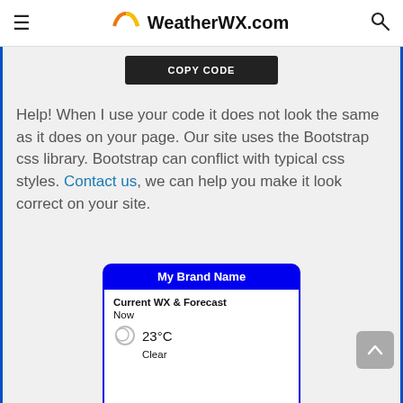WeatherWX.com
COPY CODE
Help! When I use your code it does not look the same as it does on your page. Our site uses the Bootstrap css library. Bootstrap can conflict with typical css styles. Contact us, we can help you make it look correct on your site.
[Figure (screenshot): Weather widget showing My Brand Name header, Current WX & Forecast, Now, 23°C, Clear, and The Zone Forecast is Currently Unavailable]
The Zone Forecast is Currently Unavailable